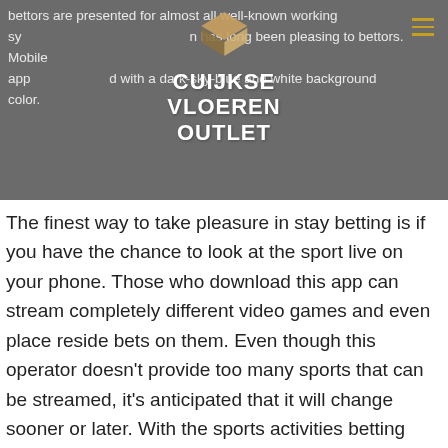bettors are presented for almost all well-known working systems. 1xBet has long been pleasing to bettors. Mobile app is designed with a dark-sky-blue and white background color.
[Figure (logo): Cuijkse Vloeren Outlet logo — stacked diamond/rhombus shapes in brown/tan on grey background with white text reading CUIJKSE VLOEREN OUTLET]
The finest way to take pleasure in stay betting is if you have the chance to look at the sport live on your phone. Those who download this app can stream completely different video games and even place reside bets on them. Even though this operator doesn't provide too many sports that can be streamed, it's anticipated that it will change sooner or later. With the sports activities betting industry rising day by day, so do the completely different sorts of bets provided by the bookmakers.
1xBet reserves to all new users who will open a brand new account on its platform, a very generous offer, so the